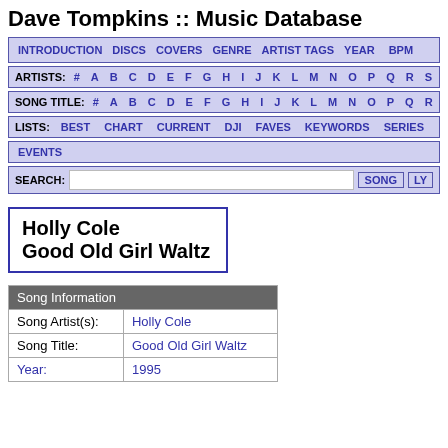Dave Tompkins :: Music Database
INTRODUCTION  DISCS  COVERS  GENRE  ARTIST TAGS  YEAR  BPM
ARTISTS: # A B C D E F G H I J K L M N O P Q R S T
SONG TITLE: # A B C D E F G H I J K L M N O P Q R S
LISTS: BEST  CHART  CURRENT  DJI  FAVES  KEYWORDS  SERIES
EVENTS
SEARCH:  [input]  SONG  LY
Holly Cole
Good Old Girl Waltz
| Song Information |  |
| --- | --- |
| Song Artist(s): | Holly Cole |
| Song Title: | Good Old Girl Waltz |
| Year: | 1995 |